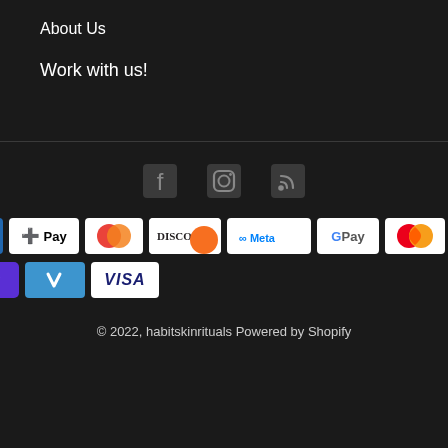About Us
Work with us!
[Figure (infographic): Social media icons: Facebook, Instagram, RSS feed]
[Figure (infographic): Payment method badges: American Express, Apple Pay, Diners Club, Discover, Meta Pay, Google Pay, Mastercard, PayPal, Shop Pay, Venmo, Visa]
© 2022, habitskinrituals Powered by Shopify